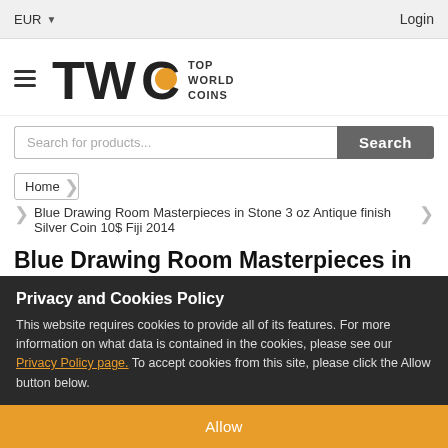EUR ▼  Login
[Figure (logo): Top World Coins (TWC) logo with orange circle in letter C]
Search for products...
Home
Blue Drawing Room Masterpieces in Stone 3 oz Antique finish Silver Coin 10$ Fiji 2014
Blue Drawing Room Masterpieces in Stone 3 oz Antique finish Silver Coin
Privacy and Cookies Policy
This website requires cookies to provide all of its features. For more information on what data is contained in the cookies, please see our Privacy Policy page. To accept cookies from this site, please click the Allow button below.
Allow